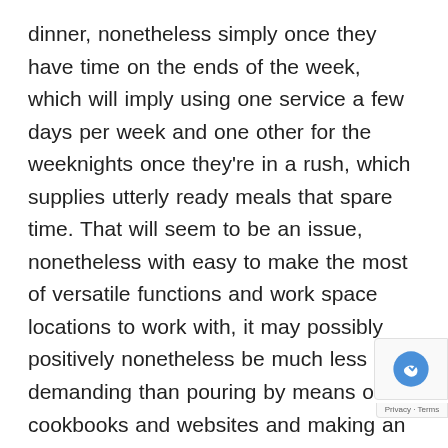dinner, nonetheless simply once they have time on the ends of the week, which will imply using one service a few days per week and one other for the weeknights once they're in a rush, which supplies utterly ready meals that spare time. That will seem to be an issue, nonetheless with easy to make the most of versatile functions and work space locations to work with, it may possibly positively nonetheless be much less demanding than pouring by means of cookbooks and websites and making an attempt untested formulation, at that time trudging to the market to assemble all that you just require. Conclusion Within the wake of investigating such numerous the menus supplied by the organizations it may possibly get complicated on selecting the right menus in your common consuming and even contemplating submit and pre exercise meals Toronto. In case you're the ty one that appears to be like for cheap web sites for s a bit money on their meals then you can even discover